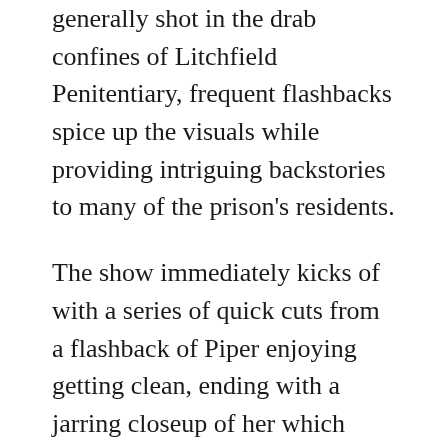generally shot in the drab confines of Litchfield Penitentiary, frequent flashbacks spice up the visuals while providing intriguing backstories to many of the prison's residents.
The show immediately kicks of with a series of quick cuts from a flashback of Piper enjoying getting clean, ending with a jarring closeup of her which eventually zooms out to reveal the confines of prison. Although the show is pretty much entirely shot in third person, the camera follows a variety of perspectives, some with minimal relation to the protagonist. The scenes generally only contain a few characters, but may start with a zoomed out view of many characters (such as in the mess hall), before focusing on the primary character in the scene.